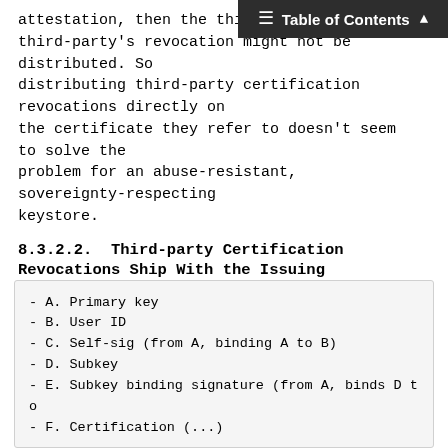Table of Contents
attestation, then the third-party third-party's revocation might not be distributed. So distributing third-party certification revocations directly on the certificate they refer to doesn't seem to solve the problem for an abuse-resistant, sovereignty-respecting keystore.
8.3.2.2. Third-party Certification Revocations Ship With the Issuing Certificate
Instead, a sovereignty-respecting keystore MAY ship a third-party certification revocation attached to the end of the issuing certificate, as this respects the sovereignty of all parties involved.
This means that the certifier's own OpenPGP certificate MAY be distributed like so:
- A. Primary key
- B. User ID
- C. Self-sig (from A, binding A to B)
- D. Subkey
- E. Subkey binding signature (from A, binds D to
- F. Certification (...)